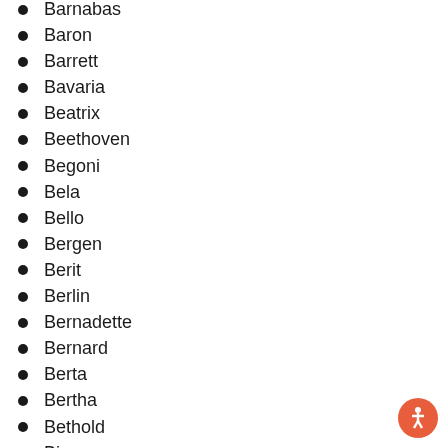Barnabas
Baron
Barrett
Bavaria
Beatrix
Beethoven
Begoni
Bela
Bello
Bergen
Berit
Berlin
Bernadette
Bernard
Berta
Bertha
Bethold
Bianca